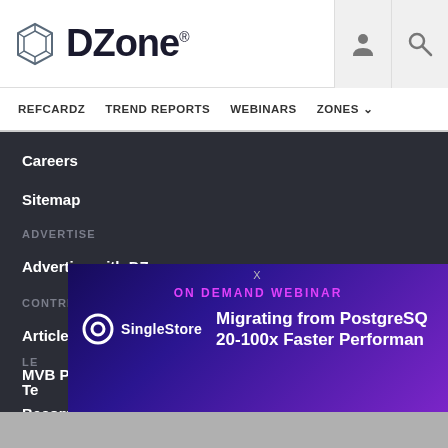DZone
REFCARDZ  TREND REPORTS  WEBINARS  ZONES
Careers
Sitemap
ADVERTISE
Advertise with DZone
CONTRIBUTE ON DZONE
Article Submission Guidelines
MVB Program
Become a Contributor
[Figure (screenshot): SingleStore advertisement banner: ON DEMAND WEBINAR - Migrating from PostgreSQL 20-100x Faster Performance]
Te...
Privacy Policy